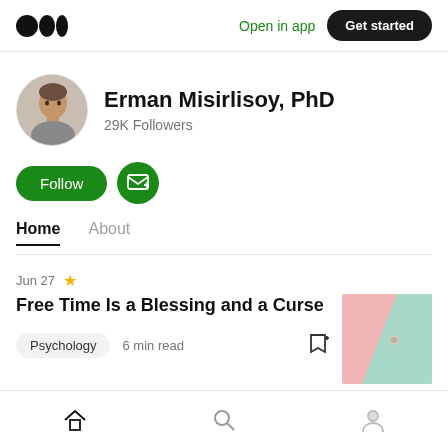Open in app   Get started
Erman Misirlisoy, PhD
29K Followers
Follow
Home   About
Jun 27
Free Time Is a Blessing and a Curse
Psychology   6 min read
[Figure (photo): Thumbnail image with pink and mint green colors divided diagonally, small circular element visible]
Home navigation   Search   Profile